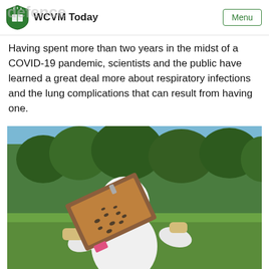WCVM Today | Menu
Having spent more than two years in the midst of a COVID-19 pandemic, scientists and the public have learned a great deal more about respiratory infections and the lung complications that can result from having one.
[Figure (photo): A beekeeper in a white protective suit and mesh face shield holds up a wooden honeycomb frame covered with bees, outdoors in a green grassy field with trees in the background.]